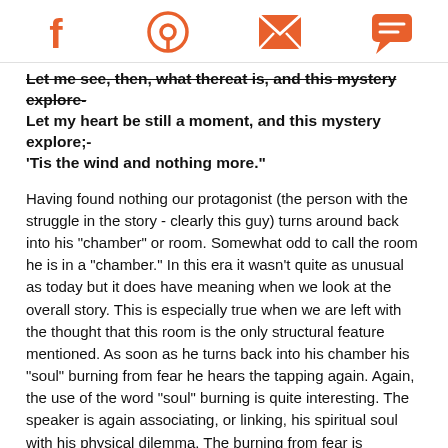Social sharing icons: Facebook, Pinterest, Email, Chat
Let me see, then, what thereat is, and this mystery explore-
Let my heart be still a moment, and this mystery explore;-
'Tis the wind and nothing more."
Having found nothing our protagonist (the person with the struggle in the story - clearly this guy) turns around back into his "chamber" or room. Somewhat odd to call the room he is in a "chamber." In this era it wasn't quite as unusual as today but it does have meaning when we look at the overall story. This is especially true when we are left with the thought that this room is the only structural feature mentioned. As soon as he turns back into his chamber his "soul" burning from fear he hears the tapping again. Again, the use of the word "soul" burning is quite interesting. The speaker is again associating, or linking, his spiritual soul with his physical dilemma. The burning from fear is probably